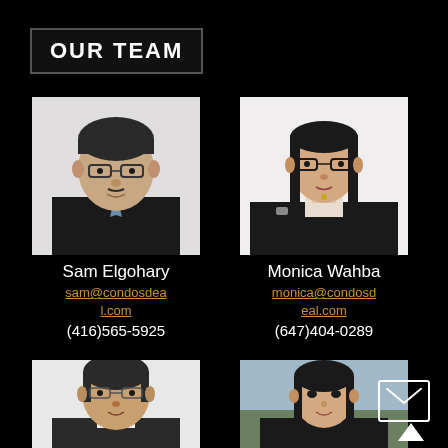OUR TEAM
[Figure (photo): Professional headshot of Sam Elgohary, man with glasses wearing a dark suit]
Sam Elgohary
sam@condosdeal.com
(416)565-5925
[Figure (photo): Professional headshot of Monica Wahba, woman with glasses wearing a dark blazer, arms crossed]
Monica Wahba
monica@condosdeal.com
(647)404-0289
[Figure (photo): Professional headshot of a man with glasses wearing a dark sweater]
[Figure (photo): Professional headshot of a woman in a black outfit]